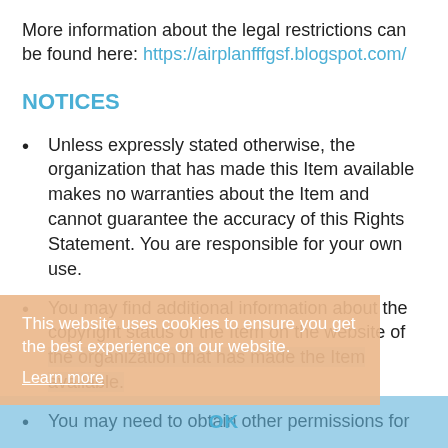More information about the legal restrictions can be found here: https://airplanfffgsf.blogspot.com/
NOTICES
Unless expressly stated otherwise, the organization that has made this Item available makes no warranties about the Item and cannot guarantee the accuracy of this Rights Statement. You are responsible for your own use.
You may find additional information about the copyright status of the Item on the website of the organization that has made the Item available.
You may need to obtain other permissions for
This website uses cookies to ensure you get the best experience on our website. Learn more OK